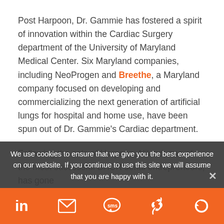Post Harpoon, Dr. Gammie has fostered a spirit of innovation within the Cardiac Surgery department of the University of Maryland Medical Center. Six Maryland companies, including NeoProgen and Breethe, a Maryland company focused on developing and commercializing the next generation of artificial lungs for hospital and home use, have been spun out of Dr. Gammie's Cardiac department.
Following the sale of Harpoon, Niland, one of the most successful BHCR serial entrepreneurs, has gone on to start and advise new companies to help...
We use cookies to ensure that we give you the best experience on our website. If you continue to use this site we will assume that you are happy with it.
Social share icons: LinkedIn, Email, SMS, Link, Other